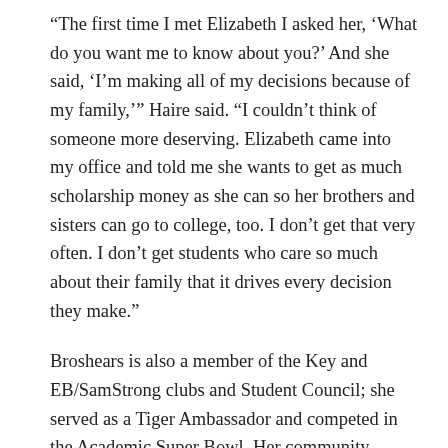“The first time I met Elizabeth I asked her, ‘What do you want me to know about you?’ And she said, ‘I’m making all of my decisions because of my family,’” Haire said. “I couldn’t think of someone more deserving. Elizabeth came into my office and told me she wants to get as much scholarship money as she can so her brothers and sisters can go to college, too. I don’t get that very often. I don’t get students who care so much about their family that it drives every decision they make.”
Broshears is also a member of the Key and EB/SamStrong clubs and Student Council; she served as a Tiger Ambassador and competed in the Academic Super Bowl. Her community